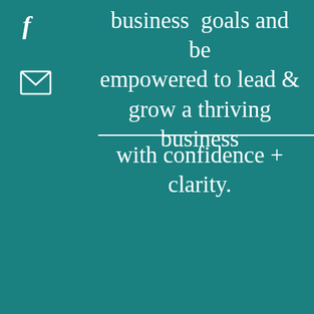[Figure (logo): Facebook 'f' icon in white italic serif font]
[Figure (illustration): Email/envelope icon in white outline]
business goals and be empowered to lead & grow a thriving business with confidence + clarity.